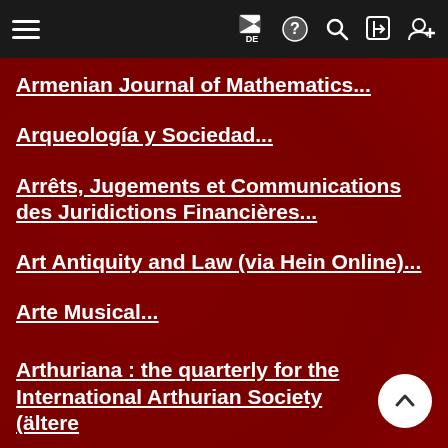Navigation bar with hamburger menu, flag/DE, help, search, login, register icons
Armenian Journal of Mathematics...
Arqueología y Sociedad...
Arrêts, Jugements et Communications des Juridictions Financières...
Art Antiquity and Law (via Hein Online)...
Arte Musical...
Arthuriana : the quarterly for the International Arthurian Society (ältere...